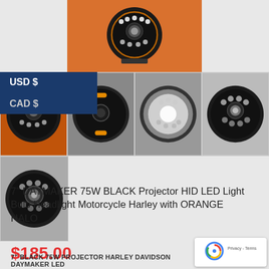[Figure (photo): Main product image of 7 inch Daymaker LED headlight on orange background, viewed from front top angle]
[Figure (photo): Thumbnail: side/back view of the LED headlight on orange background]
[Figure (photo): Thumbnail: LED headlight glowing with orange/yellow halo ring lit]
[Figure (photo): Thumbnail: LED headlight with bright white beam visible]
[Figure (photo): Thumbnail: front face view of LED headlight showing LED array configuration]
[Figure (photo): Thumbnail row 2: front face view of LED headlight, dark background]
USD $
CAD $
7" DAYMAKER 75W BLACK Projector HID LED Light Bulb Headlight Motorcycle Harley with ORANGE HALO
$185.00
7" BLACK 75W PROJECTOR HARLEY DAVIDSON DAYMAKER LED